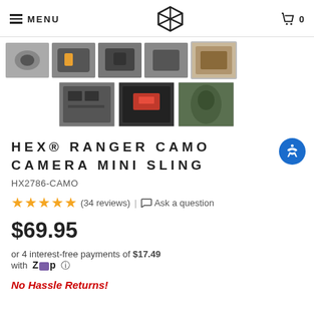MENU | HEX logo | Cart 0
[Figure (photo): Row of 5 product thumbnail images of the HEX Ranger Camo Camera Mini Sling bag from various angles]
[Figure (photo): Second row of 3 product thumbnail images showing bag contents and person wearing the bag]
HEX® RANGER CAMO CAMERA MINI SLING
HX2786-CAMO
★★★★★ (34 reviews) | Ask a question
$69.95
or 4 interest-free payments of $17.49 with Zip ⓘ
No Hassle Returns!